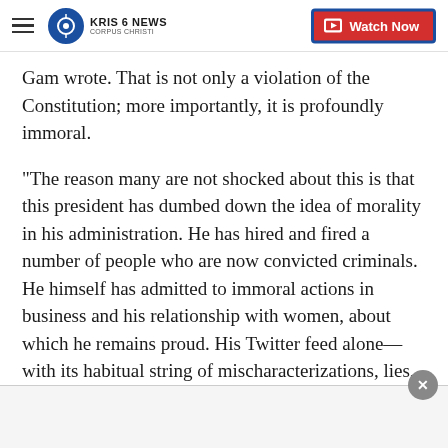KRIS 6 NEWS CORPUS CHRISTI — Watch Now
Gam wrote. That is not only a violation of the Constitution; more importantly, it is profoundly immoral.
"The reason many are not shocked about this is that this president has dumbed down the idea of morality in his administration. He has hired and fired a number of people who are now convicted criminals. He himself has admitted to immoral actions in business and his relationship with women, about which he remains proud. His Twitter feed alone—with its habitual string of mischaracterizations, lies, and slanders—is a near